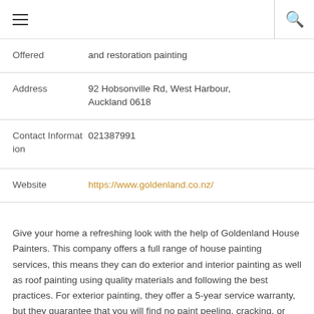≡  🔍
| Field | Value |
| --- | --- |
| Offered | and restoration painting |
| Address | 92 Hobsonville Rd, West Harbour, Auckland 0618 |
| Contact Information | 021387991 |
| Website | https://www.goldenland.co.nz/ |
Give your home a refreshing look with the help of Goldenland House Painters. This company offers a full range of house painting services, this means they can do exterior and interior painting as well as roof painting using quality materials and following the best practices. For exterior painting, they offer a 5-year service warranty, but they guarantee that you will find no paint peeling, cracking, or colour fading